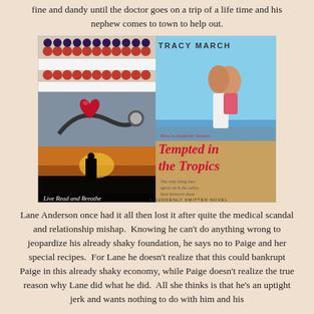fine and dandy until the doctor goes on a trip of a life time and his nephew comes to town to help out.
[Figure (illustration): Book cover collage for 'Tempted in the Tropics' by Tracy March (A Suddenly Smitten Novel). Left side shows three stacked images: top is a patriotic berry dessert with red, white, and blue berries; middle is a red heart on a stethoscope; bottom is a romantic silhouette couple at sunset with text 'Live Read and Breathe'. Right side is the book cover showing a couple embracing on a beach, with the title 'Tempted in the Tropics' in script and 'Tracy March' at the top.]
Lane Anderson once had it all then lost it after quite the medical scandal and relationship mishap.  Knowing he can't do anything wrong to jeopardize his already shaky foundation, he says no to Paige and her special recipes.  For Lane he doesn't realize that this could bankrupt Paige in this already shaky economy, while Paige doesn't realize the true reason why Lane did what he did.  All she thinks is that he's an uptight jerk and wants nothing to do with him and his